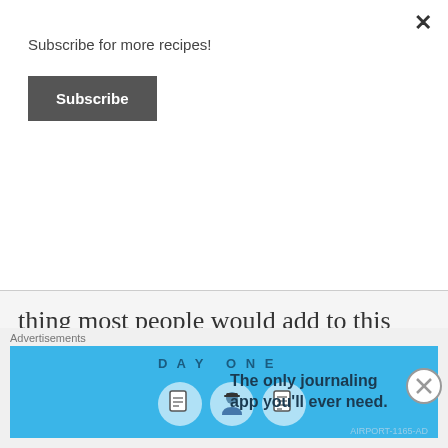Subscribe for more recipes!
Subscribe
thing most people would add to this recipe – I didn't use them because I personally don't like onions as much as most. Tip – Caramelize your onions before you cook the sausage. Then just leave the onions in the pan as you pour
[Figure (screenshot): Advertisement banner for Day One journaling app with blue background, app icons, and tagline 'The only journaling app you'll ever need.']